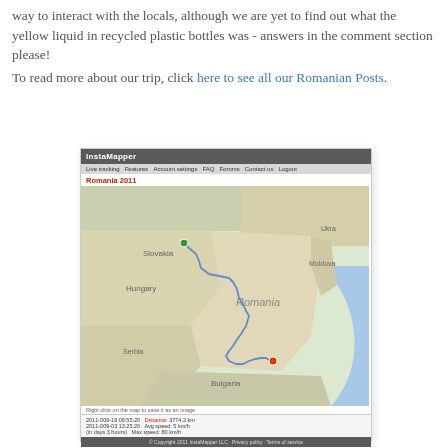way to interact with the locals, although we are yet to find out what the yellow liquid in recycled plastic bottles was - answers in the comment section please!
To read more about our trip, click here to see all our Romanian Posts.
[Figure (screenshot): Screenshot of InstaMapper website showing a map of Romania 2011 with a GPS track route plotted across Romania from Slovakia down through the country to the Black Sea coast. The map shows surrounding countries including Hungary, Serbia, Bulgaria, Moldova, Ukraine. The route is shown as a blue line. Stats shown include distance 3774.2 km, dates 2011-008-19 09:55:20 to 2011-009-03 15:25:20, avg speed 5 km/h, max speed 80 km/h.]